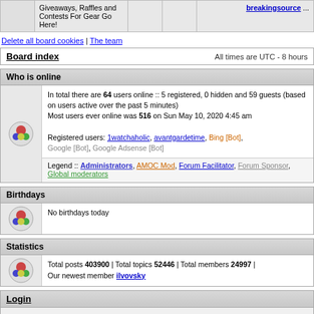| Giveaways, Raffles and Contests For Gear Go Here! |  |  | breakingsource ... |
Delete all board cookies | The team
Board index — All times are UTC - 8 hours
Who is online
In total there are 64 users online :: 5 registered, 0 hidden and 59 guests (based on users active over the past 5 minutes) Most users ever online was 516 on Sun May 10, 2020 4:45 am

Registered users: 1watchaholic, avantgardetime, Bing [Bot], Google [Bot], Google Adsense [Bot]
Legend :: Administrators, AMOC Mod, Forum Facilitator, Forum Sponsor, Global moderators
Birthdays
No birthdays today
Statistics
Total posts 403900 | Total topics 52446 | Total members 24997 | Our newest member ilvovsky
Login